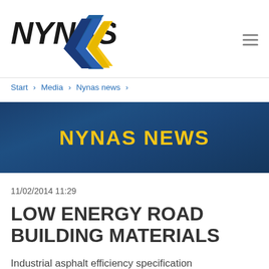[Figure (logo): NYNAS company logo with blue and yellow arrow graphic]
Start > Media > Nynas news >
[Figure (infographic): Dark blue banner with yellow bold text reading NYNAS NEWS]
11/02/2014 11:29
LOW ENERGY ROAD BUILDING MATERIALS
Industrial asphalt efficiency specification